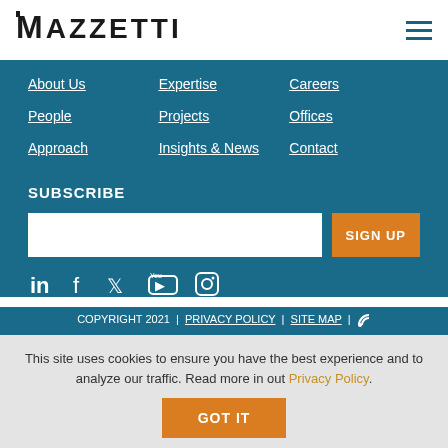[Figure (logo): Mazzetti company logo with stylized M and hamburger menu icon]
About Us
Expertise
Careers
People
Projects
Offices
Approach
Insights & News
Contact
SUBSCRIBE
[Figure (other): Email input field and SIGN UP button]
[Figure (other): Social media icons: LinkedIn, Facebook, Twitter, YouTube, Instagram]
COPYRIGHT 2021 | PRIVACY POLICY | SITE MAP |
This site uses cookies to ensure you have the best experience and to analyze our traffic. Read more in out Privacy Policy.
GOT IT